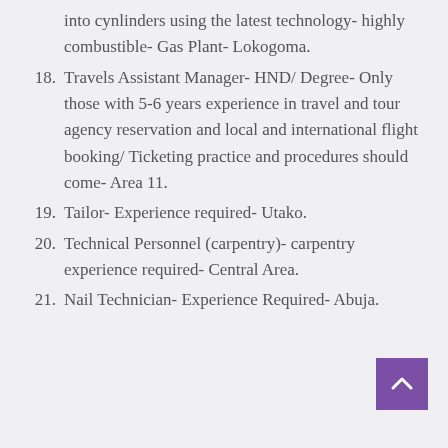into cynlinders using the latest technology- highly combustible- Gas Plant- Lokogoma.
18. Travels Assistant Manager- HND/ Degree- Only those with 5-6 years experience in travel and tour agency reservation and local and international flight booking/ Ticketing practice and procedures should come- Area 11.
19. Tailor- Experience required- Utako.
20. Technical Personnel (carpentry)- carpentry experience required- Central Area.
21. Nail Technician- Experience Required- Abuja.